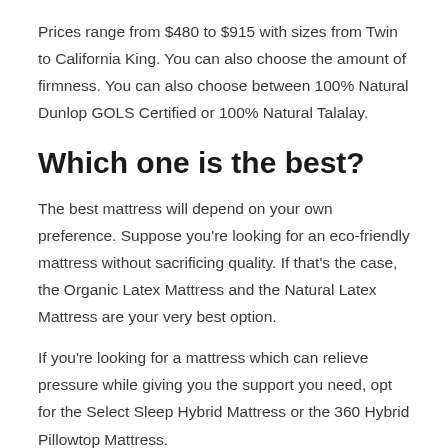Prices range from $480 to $915 with sizes from Twin to California King. You can also choose the amount of firmness. You can also choose between 100% Natural Dunlop GOLS Certified or 100% Natural Talalay.
Which one is the best?
The best mattress will depend on your own preference. Suppose you're looking for an eco-friendly mattress without sacrificing quality. If that's the case, the Organic Latex Mattress and the Natural Latex Mattress are your very best option.
If you're looking for a mattress which can relieve pressure while giving you the support you need, opt for the Select Sleep Hybrid Mattress or the 360 Hybrid Pillowtop Mattress.
The Roma Latex Mattress would be the best among the rest for customers wanting to get the best bargain. With only one mattress,